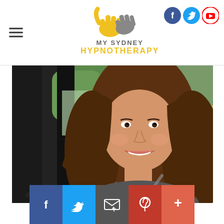[Figure (logo): My Sydney Hypnotherapy logo with hand icon and text]
[Figure (photo): Smiling young woman with long brown hair sitting in a car, photographed through the car window]
[Figure (infographic): Social sharing bar with Facebook, Twitter, Email, Pinterest, and More buttons]